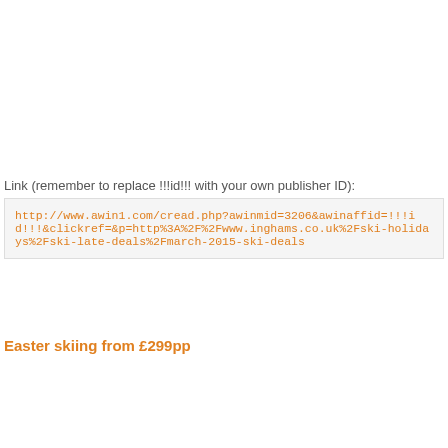Link (remember to replace !!!id!!! with your own publisher ID):
http://www.awin1.com/cread.php?awinmid=3206&awinaffid=!!!id!!!&clickref=&p=http%3A%2F%2Fwww.inghams.co.uk%2Fski-holidays%2Fski-late-deals%2Fmarch-2015-ski-deals
Easter skiing from £299pp